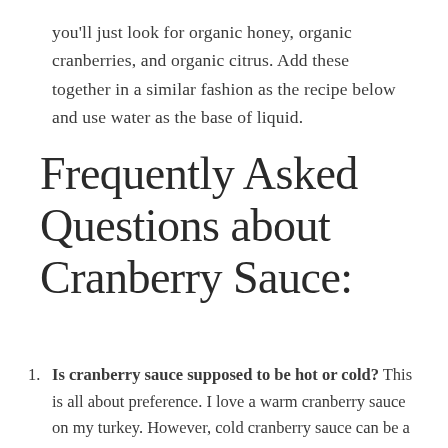you'll just look for organic honey, organic cranberries, and organic citrus. Add these together in a similar fashion as the recipe below and use water as the base of liquid.
Frequently Asked Questions about Cranberry Sauce:
Is cranberry sauce supposed to be hot or cold? This is all about preference. I love a warm cranberry sauce on my turkey. However, cold cranberry sauce can be a